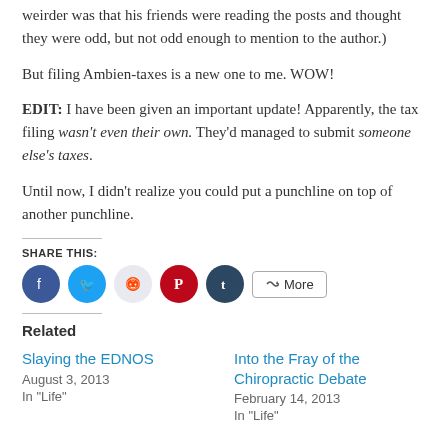weirder was that his friends were reading the posts and thought they were odd, but not odd enough to mention to the author.)
But filing Ambien-taxes is a new one to me. WOW!
EDIT: I have been given an important update! Apparently, the tax filing wasn't even their own. They'd managed to submit someone else's taxes.
Until now, I didn't realize you could put a punchline on top of another punchline.
SHARE THIS:
[Figure (other): Social share buttons: Facebook, Twitter, Reddit, Pinterest, Tumblr, and More]
Related
Slaying the EDNOS
August 3, 2013
In "Life"
Into the Fray of the Chiropractic Debate
February 14, 2013
In "Life"